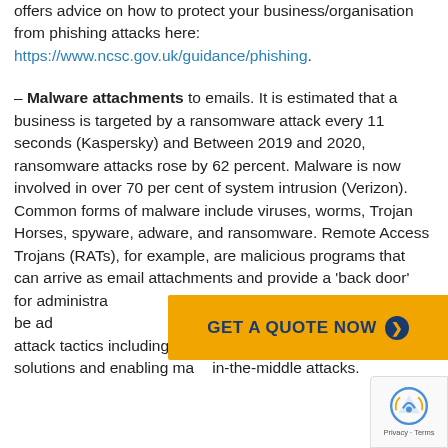offers advice on how to protect your business/organisation from phishing attacks here: https://www.ncsc.gov.uk/guidance/phishing.
– Malware attachments to emails. It is estimated that a business is targeted by a ransomware attack every 11 seconds (Kaspersky) and Between 2019 and 2020, ransomware attacks rose by 62 percent. Malware is now involved in over 70 per cent of system intrusion (Verizon). Common forms of malware include viruses, worms, Trojan Horses, spyware, adware, and ransomware. Remote Access Trojans (RATs), for example, are malicious programs that can arrive as email attachments and provide a 'back door' for administrators to remotely access a computer, and can be adapted and programmed to and to carry other types of attack tactics including disabling anti-malware solutions and enabling man-in-the-middle attacks.